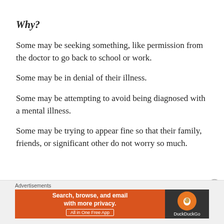Why?
Some may be seeking something, like permission from the doctor to go back to school or work.
Some may be in denial of their illness.
Some may be attempting to avoid being diagnosed with a mental illness.
Some may be trying to appear fine so that their family, friends, or significant other do not worry so much.
[Figure (other): DuckDuckGo advertisement banner: orange left panel with text 'Search, browse, and email with more privacy. All in One Free App', dark right panel with DuckDuckGo logo and name.]